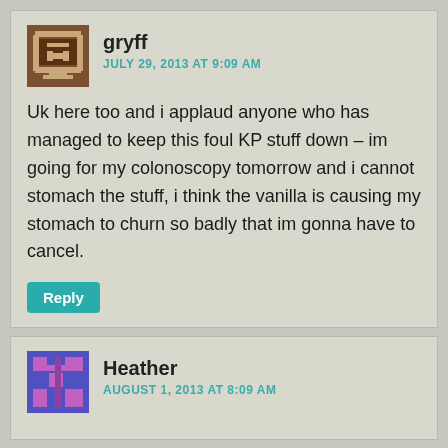[Figure (illustration): User avatar for gryff - brown pixel art icon with geometric shapes]
gryff
JULY 29, 2013 AT 9:09 AM
Uk here too and i applaud anyone who has managed to keep this foul KP stuff down – im going for my colonoscopy tomorrow and i cannot stomach the stuff, i think the vanilla is causing my stomach to churn so badly that im gonna have to cancel.
Reply
[Figure (illustration): User avatar for Heather - purple/pink pixel art icon]
Heather
AUGUST 1, 2013 AT 8:09 AM